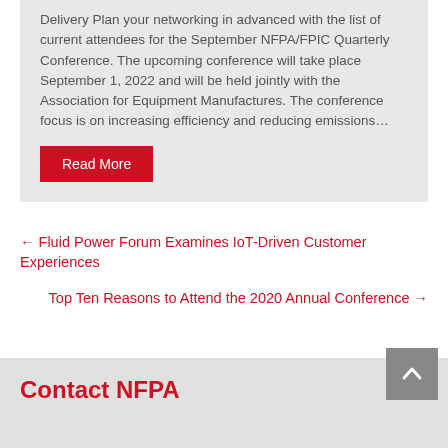Delivery Plan your networking in advanced with the list of current attendees for the September NFPA/FPIC Quarterly Conference. The upcoming conference will take place September 1, 2022 and will be held jointly with the Association for Equipment Manufactures. The conference focus is on increasing efficiency and reducing emissions…
Read More
← Fluid Power Forum Examines IoT-Driven Customer Experiences
Top Ten Reasons to Attend the 2020 Annual Conference →
Contact NFPA